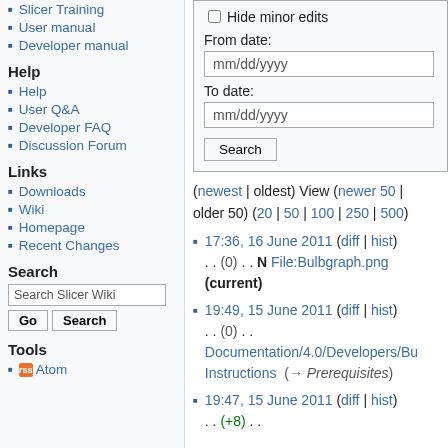Slicer Training
User manual
Developer manual
Help
Help
User Q&A
Developer FAQ
Discussion Forum
Links
Downloads
Wiki
Homepage
Recent Changes
Search
Search Slicer Wiki [search input] Go | Search
Tools
Atom
Hide minor edits [checkbox]
From date: mm/dd/yyyy
To date: mm/dd/yyyy
(newest | oldest) View (newer 50 | older 50) (20 | 50 | 100 | 250 | 500)
17:36, 16 June 2011 (diff | hist) . . (0) . . N File:Bulbgraph.png (current)
19:49, 15 June 2011 (diff | hist) . . (0) . . Documentation/4.0/Developers/Build Instructions (→Prerequisites)
19:47, 15 June 2011 (diff | hist) . . (+8) . .